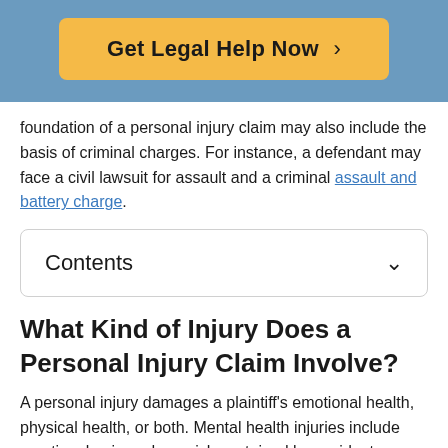[Figure (other): Blue banner with orange/yellow CTA button labeled 'Get Legal Help Now >']
foundation of a personal injury claim may also include the basis of criminal charges. For instance, a defendant may face a civil lawsuit for assault and a criminal assault and battery charge.
Contents
What Kind of Injury Does a Personal Injury Claim Involve?
A personal injury damages a plaintiff's emotional health, physical health, or both. Mental health injuries include emotional pain and anguish sustained by accident.